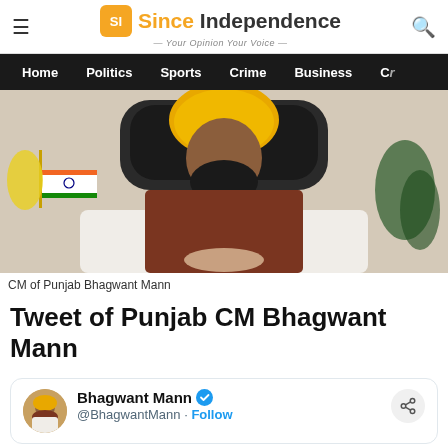Since Independence — Your Opinion Your Voice
Home | Politics | Sports | Crime | Business | C...
[Figure (photo): CM of Punjab Bhagwant Mann seated at a desk in front of an Indian flag, wearing a yellow turban and brown vest over white kurta]
CM of Punjab Bhagwant Mann
Tweet of Punjab CM Bhagwant Mann
Bhagwant Mann @BhagwantMann · Follow